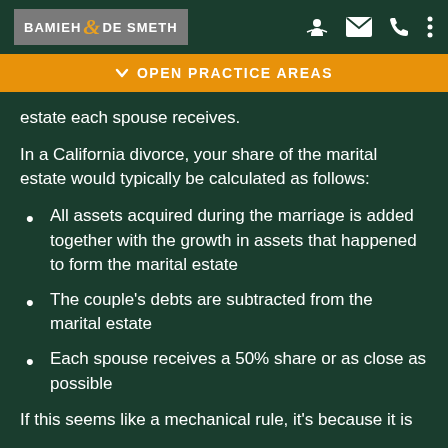BAMIEH & DE SMETH
OPEN PRACTICE AREAS
estate each spouse receives.
In a California divorce, your share of the marital estate would typically be calculated as follows:
All assets acquired during the marriage is added together with the growth in assets that happened to form the marital estate
The couple's debts are subtracted from the marital estate
Each spouse receives a 50% share or as close as possible
If this seems like a mechanical rule, it's because it is